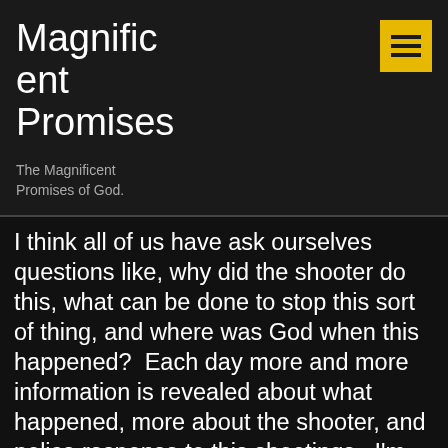Magnificent Promises
The Magnificent Promises of God.
I think all of us have ask ourselves questions like, why did the shooter do this, what can be done to stop this sort of thing, and where was God when this happened?  Each day more and more information is revealed about what happened, more about the shooter, and police response to this shootings.  I'm sure there's a lot more information to come as everything is looked at and analyzed.  Let's take a closer look at some of these questions